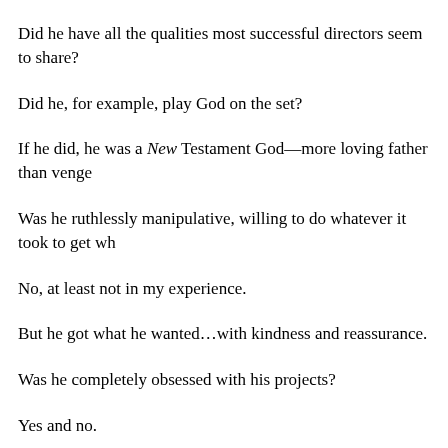Did he have all the qualities most successful directors seem to share?
Did he, for example, play God on the set?
If he did, he was a New Testament God—more loving father than venge
Was he ruthlessly manipulative, willing to do whatever it took to get wh
No, at least not in my experience.
But he got what he wanted…with kindness and reassurance.
Was he completely obsessed with his projects?
Yes and no.